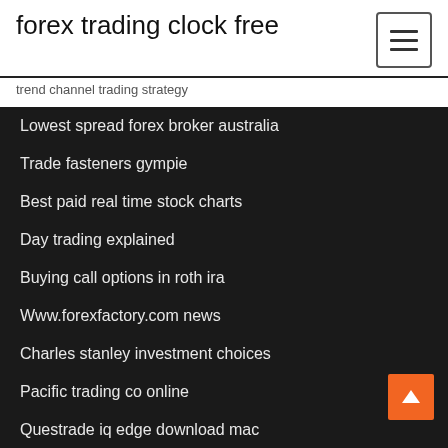forex trading clock free
trend channel trading strategy
Lowest spread forex broker australia
Trade fasteners gympie
Best paid real time stock charts
Day trading explained
Buying call options in roth ira
Www.forexfactory.com news
Charles stanley investment choices
Pacific trading co online
Questrade iq edge download mac
Rait financial trust stock price